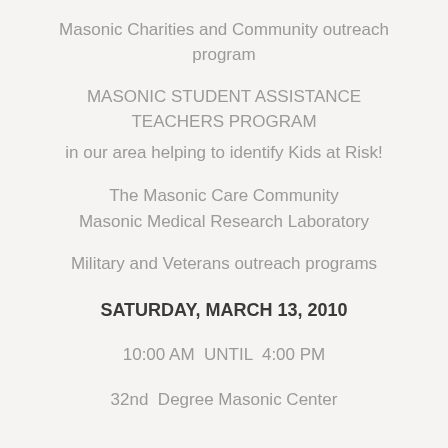Masonic Charities and Community outreach program
MASONIC STUDENT ASSISTANCE TEACHERS PROGRAM
in our area helping to identify Kids at Risk!
The Masonic Care Community
Masonic Medical Research Laboratory
Military and Veterans outreach programs
SATURDAY, MARCH 13, 2010
10:00 AM  UNTIL  4:00 PM
32nd  Degree Masonic Center